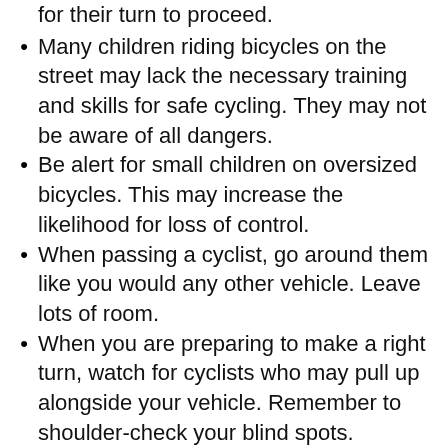for their turn to proceed.
Many children riding bicycles on the street may lack the necessary training and skills for safe cycling. They may not be aware of all dangers.
Be alert for small children on oversized bicycles. This may increase the likelihood for loss of control.
When passing a cyclist, go around them like you would any other vehicle. Leave lots of room.
When you are preparing to make a right turn, watch for cyclists who may pull up alongside your vehicle. Remember to shoulder-check your blind spots.
When you are about to make a right turn, do not pull up beside a cyclist and then turn directly in front of them and cut them off.
When pulling away from the curb, always check for cyclists who may be trying to pass you.
When parked at the curb, always check for cyclists